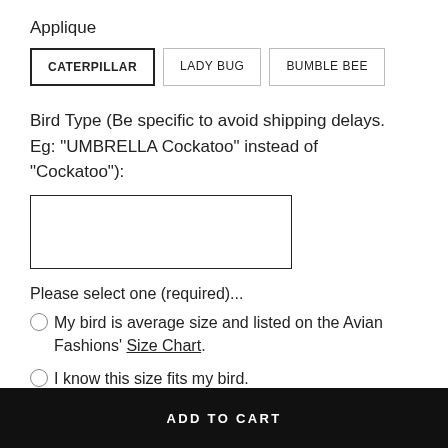Applique
CATERPILLAR
LADY BUG
BUMBLE BEE
Bird Type (Be specific to avoid shipping delays. Eg: "UMBRELLA Cockatoo" instead of "Cockatoo"):
Please select one (required)...
My bird is average size and listed on the Avian Fashions' Size Chart.
I know this size fits my bird.
Please, check this box and provide
ADD TO CART